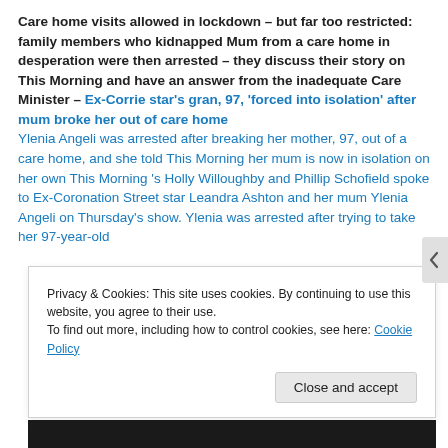Care home visits allowed in lockdown – but far too restricted:  family members who kidnapped Mum from a care home in desperation were then arrested – they discuss their story on This Morning and have an answer from the inadequate Care Minister
Ex-Corrie star's gran, 97, 'forced into isolation' after mum broke her out of care home Ylenia Angeli was arrested after breaking her mother, 97, out of a care home, and she told This Morning her mum is now in isolation on her own This Morning 's Holly Willoughby and Phillip Schofield spoke to Ex-Coronation Street star Leandra Ashton and her mum Ylenia Angeli on Thursday's show. Ylenia was arrested after trying to take her 97-year-old
Privacy & Cookies: This site uses cookies. By continuing to use this website, you agree to their use.
To find out more, including how to control cookies, see here: Cookie Policy
Close and accept